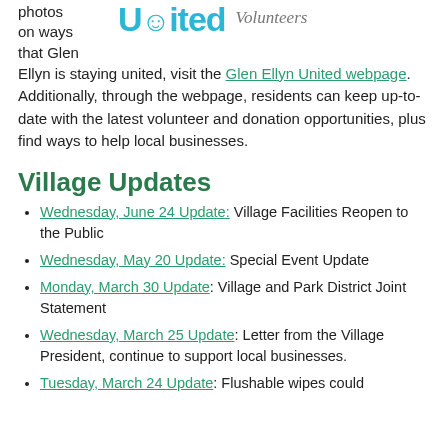photos on ways that Glen Ellyn is staying united, visit the Glen Ellyn United webpage. Additionally, through the webpage, residents can keep up-to-date with the latest volunteer and donation opportunities, plus find ways to help local businesses.
[Figure (logo): Glen Ellyn United Volunteers logo with teal 'United' text and italic 'Volunteers' in gray]
Village Updates
Wednesday, June 24 Update: Village Facilities Reopen to the Public
Wednesday, May 20 Update: Special Event Update
Monday, March 30 Update: Village and Park District Joint Statement
Wednesday, March 25 Update: Letter from the Village President, continue to support local businesses.
Tuesday, March 24 Update: Flushable wipes could